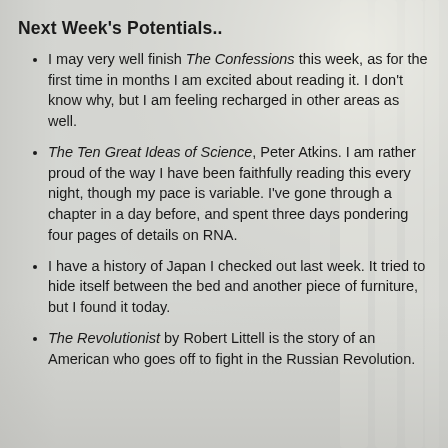Next Week's Potentials..
I may very well finish The Confessions this week, as for the first time in months I am excited about reading it. I don't know why, but I am feeling recharged in other areas as well.
The Ten Great Ideas of Science, Peter Atkins. I am rather proud of the way I have been faithfully reading this every night, though my pace is variable. I've gone through a chapter in a day before, and spent three days pondering four pages of details on RNA.
I have a history of Japan I checked out last week. It tried to hide itself between the bed and another piece of furniture, but I found it today.
The Revolutionist by Robert Littell is the story of an American who goes off to fight in the Russian Revolution.